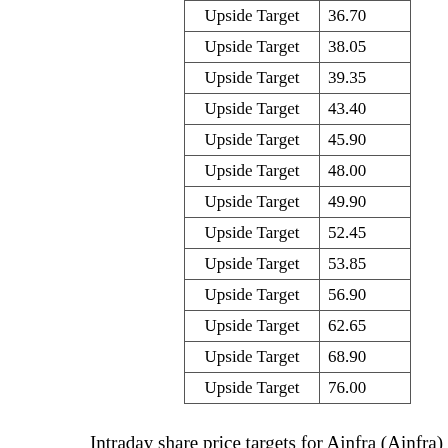| Target Type | Value |
| --- | --- |
| Upside Target | 36.70 |
| Upside Target | 38.05 |
| Upside Target | 39.35 |
| Upside Target | 43.40 |
| Upside Target | 45.90 |
| Upside Target | 48.00 |
| Upside Target | 49.90 |
| Upside Target | 52.45 |
| Upside Target | 53.85 |
| Upside Target | 56.90 |
| Upside Target | 62.65 |
| Upside Target | 68.90 |
| Upside Target | 76.00 |
Intraday share price targets for Ainfra (Ainfra)
| Target Type | Value |
| --- | --- |